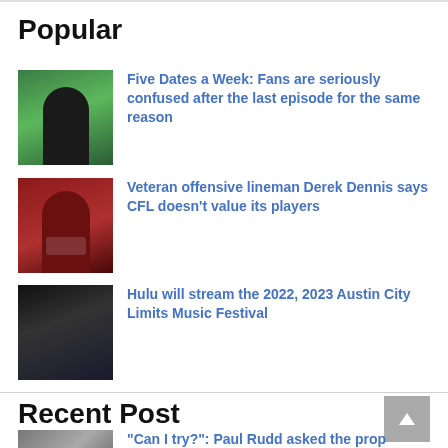Popular
Five Dates a Week: Fans are seriously confused after the last episode for the same reason
Veteran offensive lineman Derek Dennis says CFL doesn't value its players
Hulu will stream the 2022, 2023 Austin City Limits Music Festival
Recent Post
“Can I try?”: Paul Rudd asked the prop